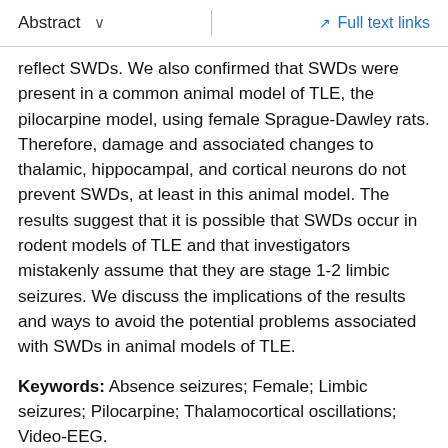Abstract  ∨   Full text links
reflect SWDs. We also confirmed that SWDs were present in a common animal model of TLE, the pilocarpine model, using female Sprague-Dawley rats. Therefore, damage and associated changes to thalamic, hippocampal, and cortical neurons do not prevent SWDs, at least in this animal model. The results suggest that it is possible that SWDs occur in rodent models of TLE and that investigators mistakenly assume that they are stage 1-2 limbic seizures. We discuss the implications of the results and ways to avoid the potential problems associated with SWDs in animal models of TLE.
Keywords: Absence seizures; Female; Limbic seizures; Pilocarpine; Thalamocortical oscillations; Video-EEG.
Copyright © 2014 Elsevier Inc. All rights reserved.